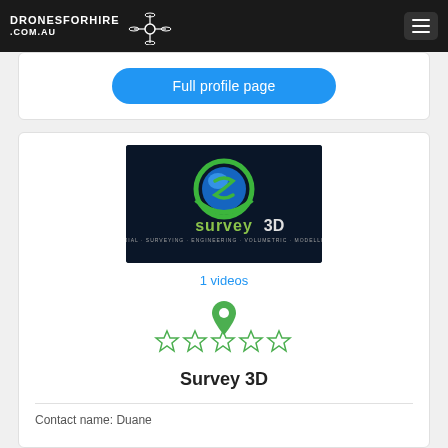DRONESFORHIRE.COM.AU
Full profile page
[Figure (logo): Survey3D company logo on dark background with blue/green S-globe icon and green 'survey3D' text]
1 videos
[Figure (illustration): Green map location pin icon]
[Figure (illustration): Five empty/outline star rating icons in green]
Survey 3D
Contact name: Duane